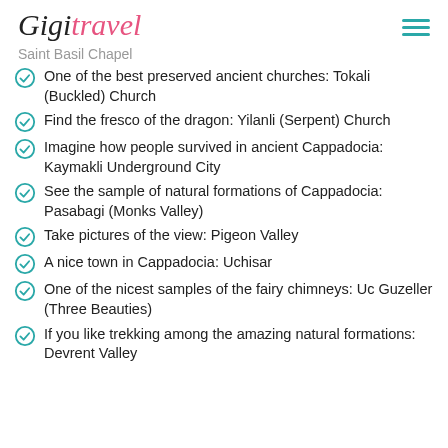Gigi travel
Saint Basil Chapel
One of the best preserved ancient churches: Tokali (Buckled) Church
Find the fresco of the dragon: Yilanli (Serpent) Church
Imagine how people survived in ancient Cappadocia: Kaymakli Underground City
See the sample of natural formations of Cappadocia: Pasabagi (Monks Valley)
Take pictures of the view: Pigeon Valley
A nice town in Cappadocia: Uchisar
One of the nicest samples of the fairy chimneys: Uc Guzeller (Three Beauties)
If you like trekking among the amazing natural formations: Devrent Valley